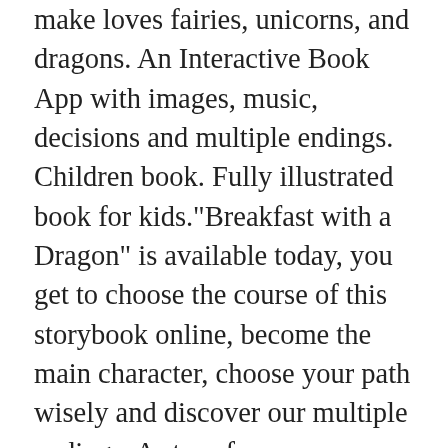make loves fairies, unicorns, and dragons. An Interactive Book App with images, music, decisions and multiple endings. Children book. Fully illustrated book for kids."Breakfast with a Dragon" is available today, you get to choose the course of this storybook online, become the main character, choose your path wisely and discover our multiple endings. A story for kids.Pathbooks short stories for kids. You will love this Mabel. This Interactive Book App is published by Living a Book. The best book for kids. Book for girls and boys. Little Mabel was eleven years old, and always dreaming of fairies, elves, and dragons. She believed that one day she would meet one, but her parents always told her: “Sweetie, those things don’t exist in real life. But we can read a story about them if you want.” Her room